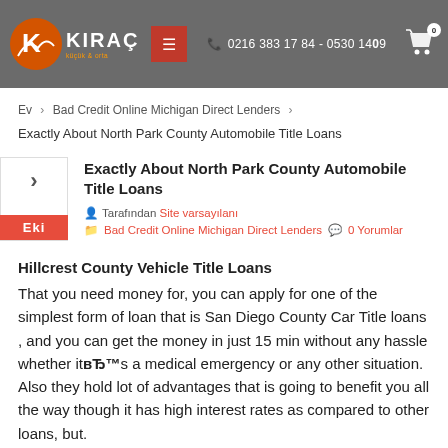[Figure (logo): Kiraç logo with orange/red K icon and white text on grey header background]
KIRAÇ | 0216 383 17 84 - 0530 14...9
Ev > Bad Credit Online Michigan Direct Lenders > Exactly About North Park County Automobile Title Loans
Exactly About North Park County Automobile Title Loans
Tarafından Site varsayılanı
Bad Credit Online Michigan Direct Lenders   0 Yorumlar
Hillcrest County Vehicle Title Loans
That you need money for, you can apply for one of the simplest form of loan that is San Diego County Car Title loans , and you can get the money in just 15 min without any hassle whether itвЂ™s a medical emergency or any other situation. Also they hold lot of advantages that is going to benefit you all the way though it has high interest rates as compared to other loans, but.